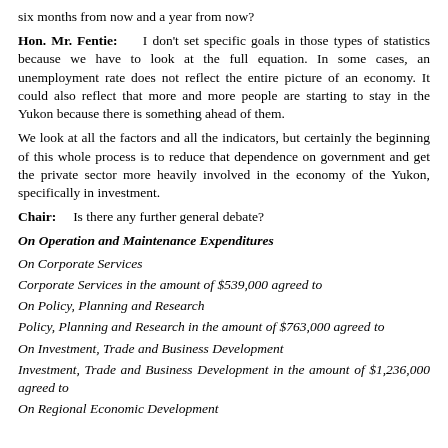six months from now and a year from now?
Hon. Mr. Fentie: I don't set specific goals in those types of statistics because we have to look at the full equation. In some cases, an unemployment rate does not reflect the entire picture of an economy. It could also reflect that more and more people are starting to stay in the Yukon because there is something ahead of them.
We look at all the factors and all the indicators, but certainly the beginning of this whole process is to reduce that dependence on government and get the private sector more heavily involved in the economy of the Yukon, specifically in investment.
Chair: Is there any further general debate?
On Operation and Maintenance Expenditures
On Corporate Services
Corporate Services in the amount of $539,000 agreed to
On Policy, Planning and Research
Policy, Planning and Research in the amount of $763,000 agreed to
On Investment, Trade and Business Development
Investment, Trade and Business Development in the amount of $1,236,000 agreed to
On Regional Economic Development